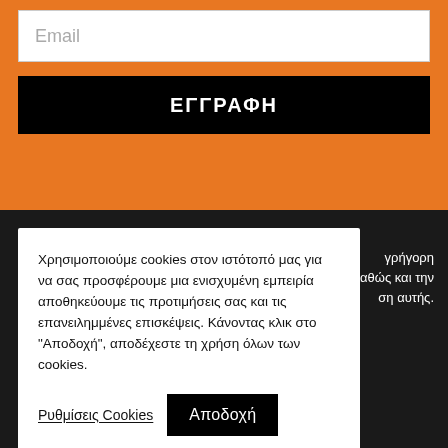Email
ΕΓΓΡΑΦΗ
Χρησιμοποιούμε cookies στον ιστότοπό μας για να σας προσφέρουμε μια ενισχυμένη εμπειρία αποθηκεύουμε τις προτιμήσεις σας και τις επανειλημμένες επισκέψεις. Κάνοντας κλικ στο "Αποδοχή", αποδέχεστε τη χρήση όλων των cookies.
Ρυθμίσεις Cookies
Αποδοχή
γρήγορη
καθώς και την
ση αυτής.
Ευχαριστούμε για την προτίμησή σας, θα χαρούμε να σας